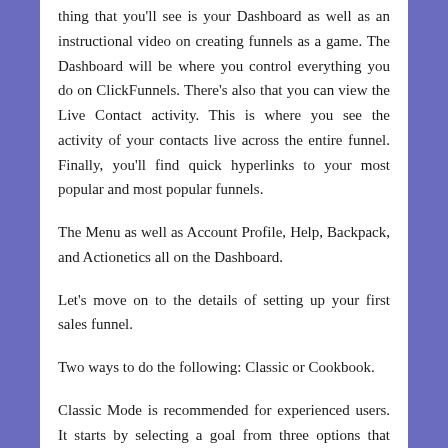thing that you'll see is your Dashboard as well as an instructional video on creating funnels as a game. The Dashboard will be where you control everything you do on ClickFunnels. There's also that you can view the Live Contact activity. This is where you see the activity of your contacts live across the entire funnel. Finally, you'll find quick hyperlinks to your most popular and most popular funnels.
The Menu as well as Account Profile, Help, Backpack, and Actionetics all on the Dashboard.
Let's move on to the details of setting up your first sales funnel.
Two ways to do the following: Classic or Cookbook.
Classic Mode is recommended for experienced users. It starts by selecting a goal from three options that include collecting emails, selling products, or host the next webinar. Choose a goal type, then click Build Funnel.